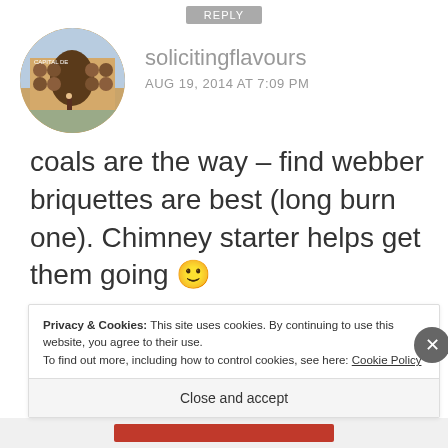REPLY
[Figure (photo): Circular avatar photo showing a building with barrel decorations and text 'Capital De...' on the facade]
solicitingflavours
AUG 19, 2014 AT 7:09 PM
coals are the way – find webber briquettes are best (long burn one). Chimney starter helps get them going 🙂
Privacy & Cookies: This site uses cookies. By continuing to use this website, you agree to their use.
To find out more, including how to control cookies, see here: Cookie Policy
Close and accept